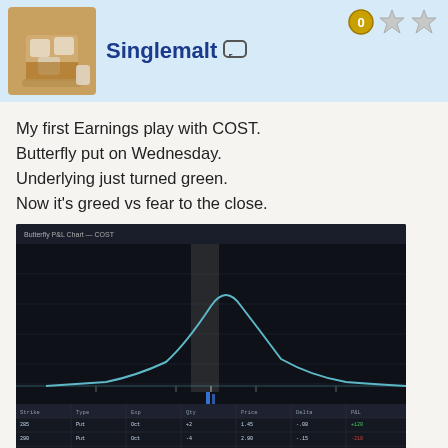[Figure (screenshot): User profile header bar with avatar (whisky glass with ice), username Singlemalt, chat icon, and star badges on light blue background]
My first Earnings play with COST.
Butterfly put on Wednesday.
Underlying just turned green.
Now it's greed vs fear to the close.
[Figure (screenshot): Dark trading platform screenshot showing a butterfly options P&L curve with a bell-shaped peak, dark background, with data tables at the bottom]
7:32AM 10/4/2019
[Figure (screenshot): Second user profile bar with avatar (woman with red hair) and star badges on light blue background, partially visible at bottom]